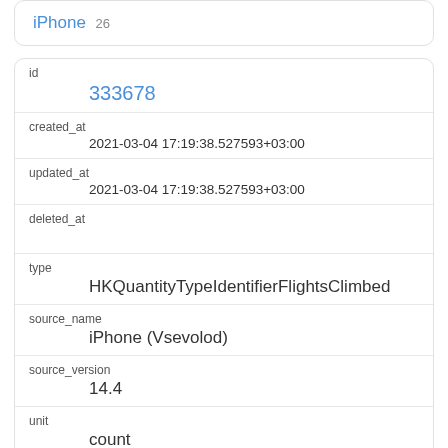iPhone 26
| id | 333678 |
| created_at | 2021-03-04 17:19:38.527593+03:00 |
| updated_at | 2021-03-04 17:19:38.527593+03:00 |
| deleted_at |  |
| type | HKQuantityTypeIdentifierFlightsClimbed |
| source_name | iPhone (Vsevolod) |
| source_version | 14.4 |
| unit | count |
| creation_date | 2021-03-04 14:05:10+03:00 |